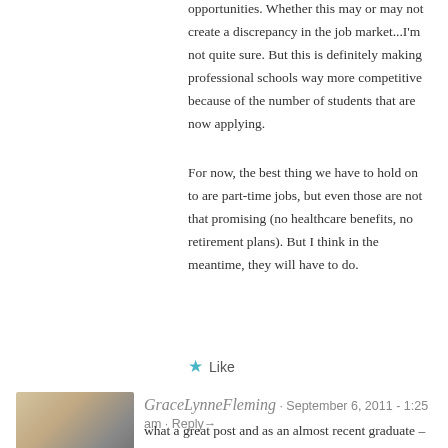opportunities. Whether this may or may not create a discrepancy in the job market...I'm not quite sure. But this is definitely making professional schools way more competitive because of the number of students that are now applying.
For now, the best thing we have to hold on to are part-time jobs, but even those are not that promising (no healthcare benefits, no retirement plans). But I think in the meantime, they will have to do.
Like
GraceLynneFleming · September 6, 2011 - 1:25 am · Reply→
what a great post and as an almost recent graduate – needed this!
Like